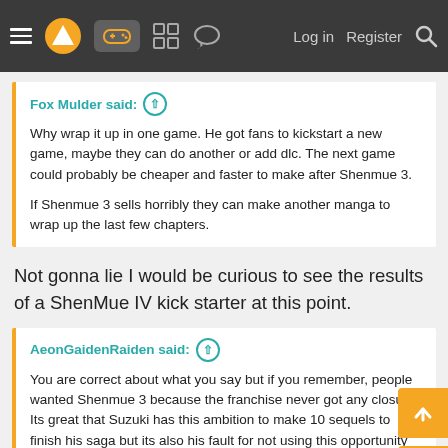Navigation bar with menu, logo, game controller icon, grid icon, chat icon, Log in, Register, Search
Fox Mulder said: ↑
Why wrap it up in one game. He got fans to kickstart a new game, maybe they can do another or add dlc. The next game could probably be cheaper and faster to make after Shenmue 3.

If Shenmue 3 sells horribly they can make another manga to wrap up the last few chapters.
Not gonna lie I would be curious to see the results of a ShenMue IV kick starter at this point.
AeonGaidenRaiden said: ↑
You are correct about what you say but if you remember, people wanted Shenmue 3 because the franchise never got any closure. Its great that Suzuki has this ambition to make 10 sequels to finish his saga but its also his fault for not using this opportunity to kind of slim down the ark and focus because out of all the people here, he knows best there wont be another chance.
So in the end people wanted 3 to also boost another chance. Sure
Click to expand...